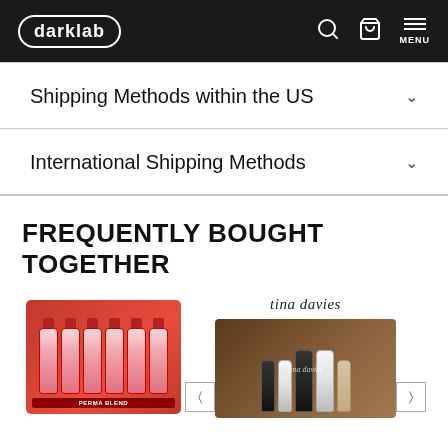darklab
Shipping Methods within the US
International Shipping Methods
FREQUENTLY BOUGHT TOGETHER
[Figure (photo): Perma Blend product set - multiple red/pink ink bottles in a red box labeled PERMA BLEND]
[Figure (photo): Tina Davies product set - multiple ink bottles in a brown/dark box branded tina davies]